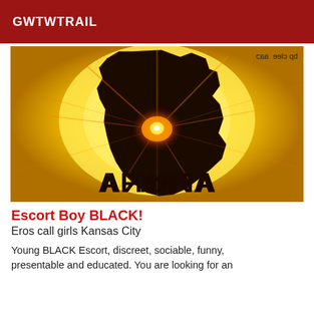GWTWTRAIL
[Figure (illustration): Illustration of the African continent silhouette in dark brown/black with a bright orange starburst light emanating from the center, set against a glowing yellow circular background. Text 'AFRIKA' appears at the bottom in dark stylized letters. Small mirrored text watermark in top right corner reads 'bp clee aas'.]
Escort Boy BLACK!
Eros call girls Kansas City
Young BLACK Escort, discreet, sociable, funny, presentable and educated. You are looking for an